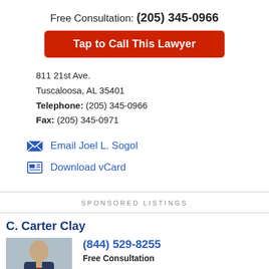Free Consultation: (205) 345-0966
Tap to Call This Lawyer
811 21st Ave.
Tuscaloosa, AL 35401
Telephone: (205) 345-0966
Fax: (205) 345-0971
Email Joel L. Sogol
Download vCard
SPONSORED LISTINGS
C. Carter Clay
[Figure (photo): Portrait photo of C. Carter Clay, a lawyer in a suit and tie]
(844) 529-8255
Free Consultation